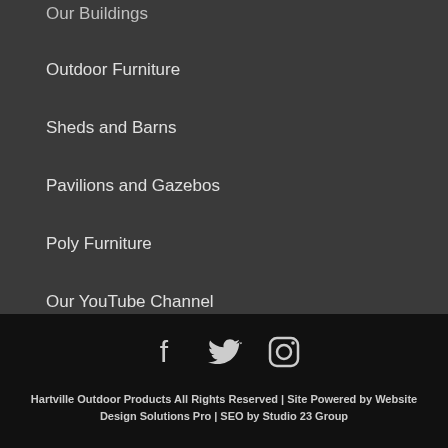Our Buildings
Outdoor Furniture
Sheds and Barns
Pavilions and Gazebos
Poly Furniture
Our YouTube Channel
[Figure (other): Social media icons: Facebook, Twitter, Instagram]
Hartville Outdoor Products All Rights Reserved | Site Powered by Website Design Solutions Pro | SEO by Studio 23 Group